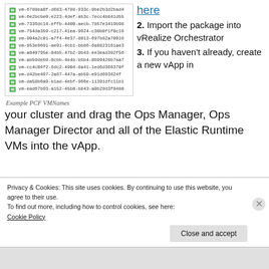[Figure (screenshot): Screenshot of a file/VM list showing green icon VMs with UUIDs: vm-6780ea0f-d683-4788-933c-9be2b3d2bad4, vm-6e2bcbe0-e223-4def-a53c-7ecc4b841d55, vm-7336dc14-effb-4400-aecb-7857e3419b98, vm-754da359-c217-41ea-9924-c30b0f1f0c16, vm-904a2c01-a7f4-4e37-8013-697b82a70916, vm-953e9691-ae91-4cb1-bb86-6a9823161ae3, vm-a040795e-04b5-47b2-9b43-ee3ead392f56, vm-ab59de59-0cbb-4e4b-b5b4-0b99428b7aa7, vm-cc4c04f2-6dc2-4904-8a41-1ed6d366370f, vm-d42be497-2a67-447a-ab59-e91d693424f, vm-da58b6a9-b1ad-4ebf-966e-11391dfc11b1, vm-ead67b93-a152-45b0-b843-a0b29d3f0480]
Example PCF VMNames
here
2. Import the package into vRealize Orchestrator
3. If you haven't already, create a new vApp in your cluster and drag the Ops Manager, Ops Manager Director and all of the Elastic Runtime VMs into the vApp.
Privacy & Cookies: This site uses cookies. By continuing to use this website, you agree to their use.
To find out more, including how to control cookies, see here:
Cookie Policy
Close and accept